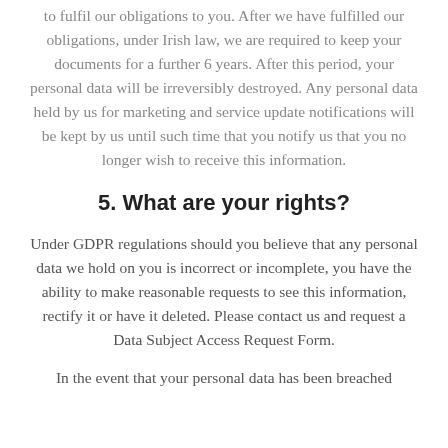to fulfil our obligations to you. After we have fulfilled our obligations, under Irish law, we are required to keep your documents for a further 6 years. After this period, your personal data will be irreversibly destroyed. Any personal data held by us for marketing and service update notifications will be kept by us until such time that you notify us that you no longer wish to receive this information.
5. What are your rights?
Under GDPR regulations should you believe that any personal data we hold on you is incorrect or incomplete, you have the ability to make reasonable requests to see this information, rectify it or have it deleted. Please contact us and request a Data Subject Access Request Form.
In the event that your personal data has been breached...